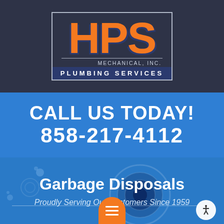[Figure (logo): HPS Mechanical Inc. Plumbing Services logo — large orange bold HPS letters with dark blue shadow on dark background, with 'MECHANICAL, INC.' in small light text and 'PLUMBING SERVICES' in white on dark blue bar, all in a bordered box]
CALL US TODAY!
858-217-4112
Garbage Disposals
Proudly Serving Our Customers Since 1959